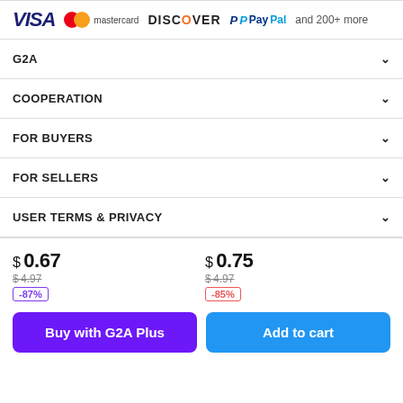[Figure (logo): Payment method logos: VISA, Mastercard, Discover, PayPal and 200+ more]
G2A
COOPERATION
FOR BUYERS
FOR SELLERS
USER TERMS & PRIVACY
$ 0.67  $4.97  -87%
$ 0.75  $4.97  -85%
Buy with G2A Plus
Add to cart